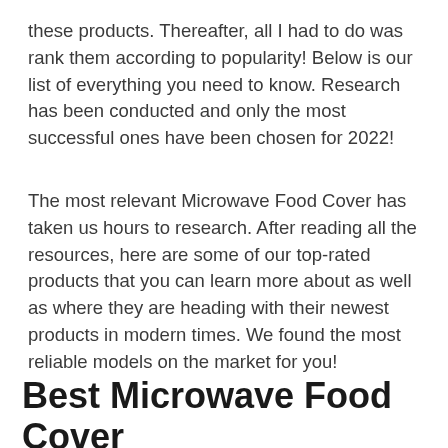these products. Thereafter, all I had to do was rank them according to popularity! Below is our list of everything you need to know. Research has been conducted and only the most successful ones have been chosen for 2022!
The most relevant Microwave Food Cover has taken us hours to research. After reading all the resources, here are some of our top-rated products that you can learn more about as well as where they are heading with their newest products in modern times. We found the most reliable models on the market for you!
Best Microwave Food Cover